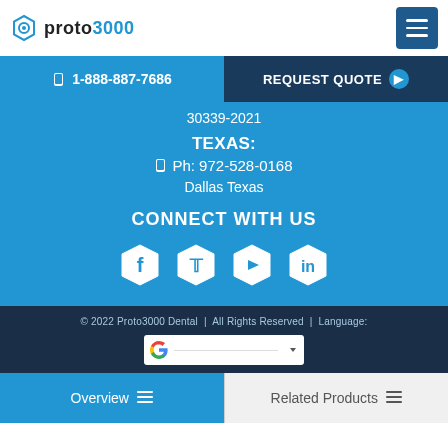proto3000
1-888-887-7686
REQUEST QUOTE
30339-2021
TEXAS:
Ph: 972-528-0168
Dallas Texas
CONNECT WITH US
[Figure (illustration): Social media icons: Facebook, Twitter, YouTube, LinkedIn in hexagonal shapes]
© 2022 Proto3000 Dental  |  All Rights Reserved  |  Language:
Overview
Related Products